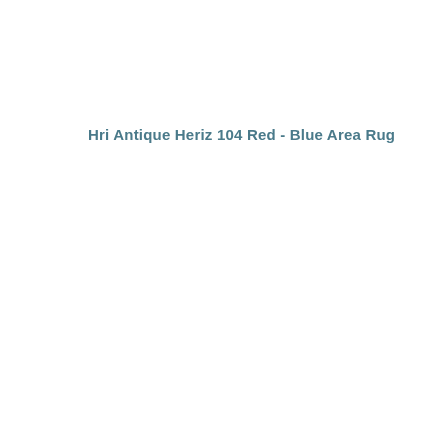Hri Antique Heriz 104 Red - Blue Area Rug